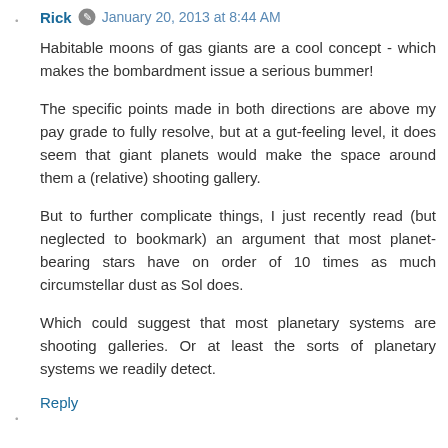Rick • January 20, 2013 at 8:44 AM
Habitable moons of gas giants are a cool concept - which makes the bombardment issue a serious bummer!
The specific points made in both directions are above my pay grade to fully resolve, but at a gut-feeling level, it does seem that giant planets would make the space around them a (relative) shooting gallery.
But to further complicate things, I just recently read (but neglected to bookmark) an argument that most planet-bearing stars have on order of 10 times as much circumstellar dust as Sol does.
Which could suggest that most planetary systems are shooting galleries. Or at least the sorts of planetary systems we readily detect.
Reply
Jim Baerg  January 20, 2013 at 1:23 PM